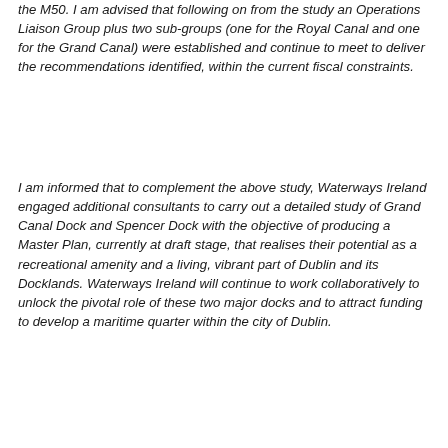the M50. I am advised that following on from the study an Operations Liaison Group plus two sub-groups (one for the Royal Canal and one for the Grand Canal) were established and continue to meet to deliver the recommendations identified, within the current fiscal constraints.
I am informed that to complement the above study, Waterways Ireland engaged additional consultants to carry out a detailed study of Grand Canal Dock and Spencer Dock with the objective of producing a Master Plan, currently at draft stage, that realises their potential as a recreational amenity and a living, vibrant part of Dublin and its Docklands. Waterways Ireland will continue to work collaboratively to unlock the pivotal role of these two major docks and to attract funding to develop a maritime quarter within the city of Dublin.